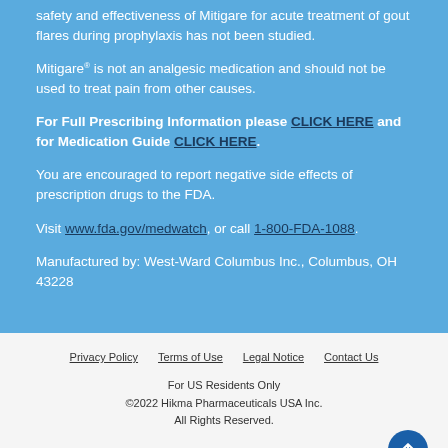safety and effectiveness of Mitigare for acute treatment of gout flares during prophylaxis has not been studied.
Mitigare® is not an analgesic medication and should not be used to treat pain from other causes.
For Full Prescribing Information please CLICK HERE and for Medication Guide CLICK HERE.
You are encouraged to report negative side effects of prescription drugs to the FDA.
Visit www.fda.gov/medwatch, or call 1-800-FDA-1088.
Manufactured by: West-Ward Columbus Inc., Columbus, OH 43228
Privacy Policy   Terms of Use   Legal Notice   Contact Us
For US Residents Only
©2022 Hikma Pharmaceuticals USA Inc.
All Rights Reserved.
[Figure (logo): Hikma Pharmaceuticals logo in red/coral color at bottom of page]